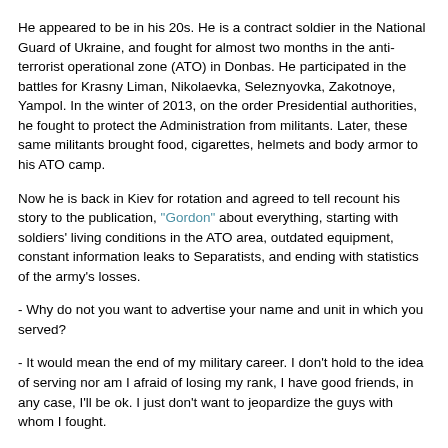He appeared to be in his 20s. He is a contract soldier in the National Guard of Ukraine, and fought for almost two months in the anti-terrorist operational zone (ATO) in Donbas. He participated in the battles for Krasny Liman, Nikolaevka, Seleznyovka, Zakotnoye, Yampol. In the winter of 2013, on the order Presidential authorities, he fought to protect the Administration from militants. Later, these same militants brought food, cigarettes, helmets and body armor to his ATO camp.
Now he is back in Kiev for rotation and agreed to tell recount his story to the publication, "Gordon" about everything, starting with soldiers' living conditions in the ATO area, outdated equipment, constant information leaks to Separatists, and ending with statistics of the army's losses.
- Why do not you want to advertise your name and unit in which you served?
- It would mean the end of my military career. I don't hold to the idea of serving nor am I afraid of losing my rank, I have good friends, in any case, I'll be ok. I just don't want to jeopardize the guys with whom I fought.
- Then why agree to the interview?